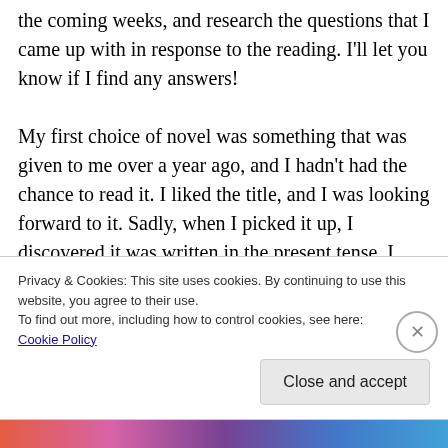the coming weeks, and research the questions that I came up with in response to the reading. I'll let you know if I find any answers!

My first choice of novel was something that was given to me over a year ago, and I hadn't had the chance to read it. I liked the title, and I was looking forward to it. Sadly, when I picked it up, I discovered it was written in the present tense. I loathe novels written in the present tense. To me, it's the author standing there,
Privacy & Cookies: This site uses cookies. By continuing to use this website, you agree to their use.
To find out more, including how to control cookies, see here:
Cookie Policy
Close and accept